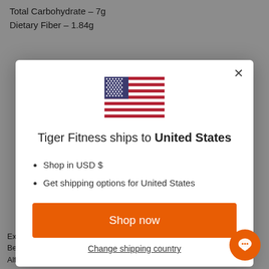Total Carbohydrate – 7g
Dietary Fiber – 1.84g
[Figure (screenshot): Modal dialog on a website showing a US flag, text 'Tiger Fitness ships to United States', bullet points 'Shop in USD $' and 'Get shipping options for United States', an orange 'Shop now' button, and a 'Change shipping country' link. An orange chat bubble icon appears in the bottom right.]
Extract, Japanese Knotweed Root Extract, Turmeric Extract, Organic Beet Root Powder, Kelp Powder, Kale Leaf Powder, Alfalfa Leaf Powder, Alfalfa Sprout...